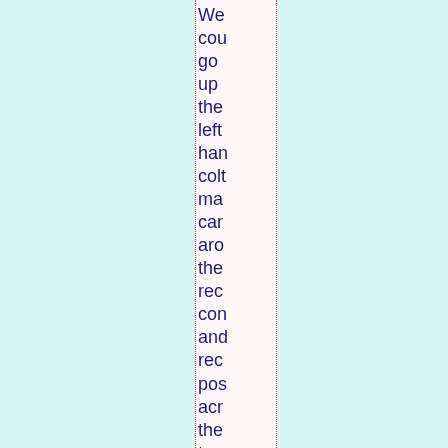We could go up the left hand column making cars around the record con and rec pos across the top bar under the